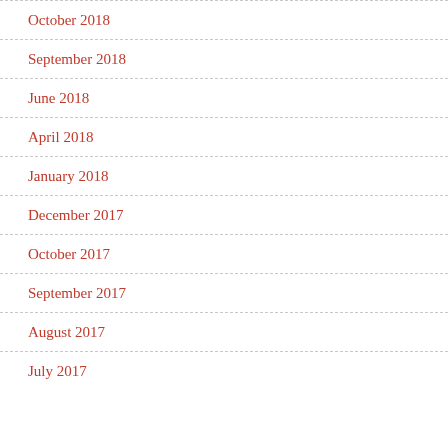October 2018
September 2018
June 2018
April 2018
January 2018
December 2017
October 2017
September 2017
August 2017
July 2017